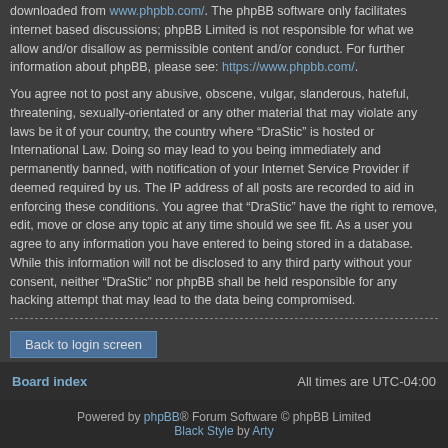downloaded from www.phpbb.com/. The phpBB software only facilitates internet based discussions; phpBB Limited is not responsible for what we allow and/or disallow as permissible content and/or conduct. For further information about phpBB, please see: https://www.phpbb.com/.
You agree not to post any abusive, obscene, vulgar, slanderous, hateful, threatening, sexually-orientated or any other material that may violate any laws be it of your country, the country where “DraStic” is hosted or International Law. Doing so may lead to you being immediately and permanently banned, with notification of your Internet Service Provider if deemed required by us. The IP address of all posts are recorded to aid in enforcing these conditions. You agree that “DraStic” have the right to remove, edit, move or close any topic at any time should we see fit. As a user you agree to any information you have entered to being stored in a database. While this information will not be disclosed to any third party without your consent, neither “DraStic” nor phpBB shall be held responsible for any hacking attempt that may lead to the data being compromised.
Back to login screen
Board index | All times are UTC-04:00
Powered by phpBB® Forum Software © phpBB Limited | Black Style by Arty